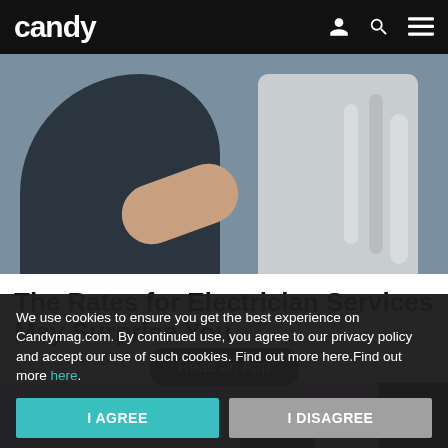candy
[Figure (photo): A person (electrician) crouching and working on electrical wiring/pipes with their hand holding a tool, wearing dark work clothes]
The Rates for Electrician Services May Surprise You
Electrician Services | Search Ads | Sponsored
Read on App
[Figure (photo): Partial view of a person with dark hair seen from behind, against a purple/lavender background]
We use cookies to ensure you get the best experience on Candymag.com. By continued use, you agree to our privacy policy and accept our use of such cookies. Find out more here.Find out more here.